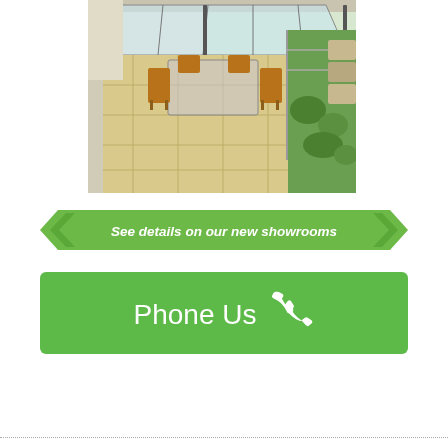[Figure (photo): Aerial view of a residential terrace/patio with glass roof canopy, outdoor dining furniture (table and chairs), cream/beige stone paving tiles, metal railings, and garden greenery in the background]
[Figure (infographic): Green banner button with chevron arrows on both sides and italic text: See details on our new showrooms]
[Figure (infographic): Green rectangular button with white text 'Phone Us' and a phone handset icon]